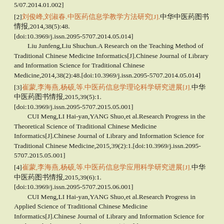5/07.2014.01.002]
[2]刘俊峰,刘淑春.中医药信息学教学方法研究[J].中华中医药图书情报,2014,38(5):48.[doi:10.3969/j.issn.2095-5707.2014.05.014]
    Liu Junfeng,Liu Shuchun.A Research on the Teaching Method of Traditional Chinese Medicine Informatics[J].Chinese Journal of Library and Information Science for Traditional Chinese Medicine,2014,38(2):48.[doi:10.3969/j.issn.2095-5707.2014.05.014]
[3]崔蒙,李海燕,杨硕,等.中医药信息学理论科学研究进展[J].中华中医药图书情报,2015,39(5):1.[doi:10.3969/j.issn.2095-5707.2015.05.001]
    CUI Meng,LI Hai-yan,YANG Shuo,et al.Research Progress in the Theoretical Science of Traditional Chinese Medicine Informatics[J].Chinese Journal of Library and Information Science for Traditional Chinese Medicine,2015,39(2):1.[doi:10.3969/j.issn.2095-5707.2015.05.001]
[4]崔蒙,李海燕,杨硕,等.中医药信息学应用科学研究进展[J].中华中医药图书情报,2015,39(6):1.[doi:10.3969/j.issn.2095-5707.2015.06.001]
    CUI Meng,LI Hai-yan,YANG Shuo,et al.Research Progress in Applied Science of Traditional Chinese Medicine Informatics[J].Chinese Journal of Library and Information Science for Traditional Chinese Medicine,2015,39(2):1.[doi:10.3969/j.issn.2095-5707.2015.06.001]
[5]魏敏,纪玮玮,蔡德英,等.2013至2015年中医药信息学相关文章综述[J].中华中医药图书情报,2016,40(1):1.[doi:10.3969/j.issn.2095-5707.2016.01.001]
    WEI Min,JI Wei-wei,CAI De-ying,et al.Review on Articles